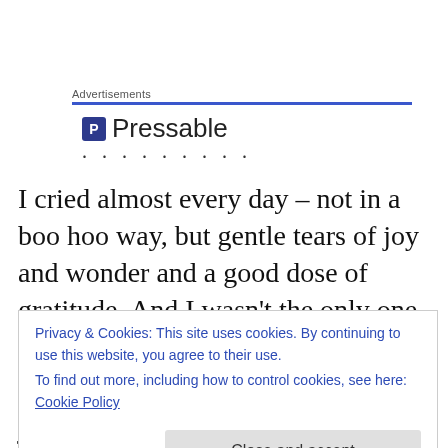Advertisements
[Figure (logo): Pressable logo with blue P icon and text 'Pressable' followed by dots]
I cried almost every day – not in a boo hoo way, but gentle tears of joy and wonder and a good dose of gratitude. And I wasn't the only one. On one of our first days out, we came across a huge migration of zebras and wildebeests
they often travel together because, zebras can see very
Privacy & Cookies: This site uses cookies. By continuing to use this website, you agree to their use. To find out more, including how to control cookies, see here: Cookie Policy
marvelous Edwin, had the wisdom to just turn off our Land